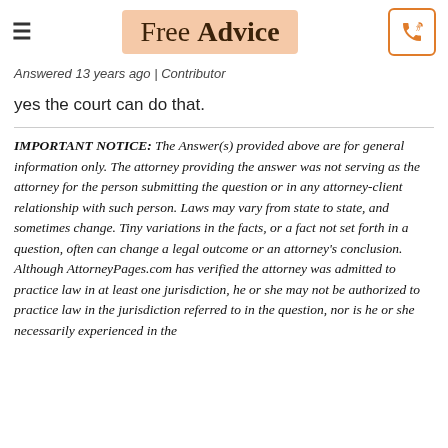Free Advice
Answered 13 years ago | Contributor
yes the court can do that.
IMPORTANT NOTICE: The Answer(s) provided above are for general information only. The attorney providing the answer was not serving as the attorney for the person submitting the question or in any attorney-client relationship with such person. Laws may vary from state to state, and sometimes change. Tiny variations in the facts, or a fact not set forth in a question, often can change a legal outcome or an attorney's conclusion. Although AttorneyPages.com has verified the attorney was admitted to practice law in at least one jurisdiction, he or she may not be authorized to practice law in the jurisdiction referred to in the question, nor is he or she necessarily experienced in the